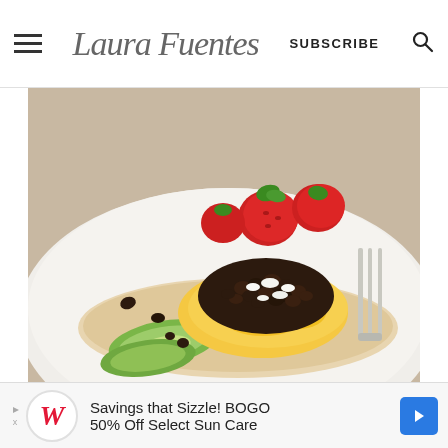Laura Fuentes | SUBSCRIBE
[Figure (photo): Close-up food photo of scrambled eggs topped with black beans and crumbled white cheese on a tortilla, with avocado slices and fresh strawberries on a white plate, fork visible on right side]
Savings that Sizzle! BOGO 50% Off Select Sun Care